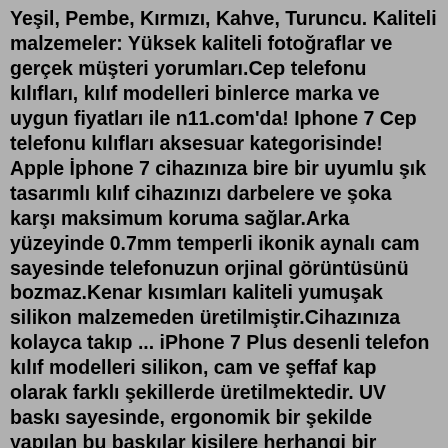Yeşil, Pembe, Kırmızı, Kahve, Turuncu. Kaliteli malzemeler: Yüksek kaliteli fotoğraflar ve gerçek müşteri yorumları.Cep telefonu kılıfları, kılıf modelleri binlerce marka ve uygun fiyatları ile n11.com'da! Iphone 7 Cep telefonu kılıfları aksesuar kategorisinde! Apple İphone 7 cihazınıza bire bir uyumlu şık tasarımlı kılıf cihazınızı darbelere ve şoka karşı maksimum koruma sağlar.Arka yüzeyinde 0.7mm temperli ikonik aynalı cam sayesinde telefonuzun orjinal görüntüsünü bozmaz.Kenar kısımları kaliteli yumuşak silikon malzemeden üretilmiştir.Cihazınıza kolayca takıp ... iPhone 7 Plus desenli telefon kılıf modelleri silikon, cam ve şeffaf kap olarak farklı şekillerde üretilmektedir. UV baskı sayesinde, ergonomik bir şekilde yapılan bu baskılar kişilere herhangi bir şekilde zarar vermemektedir. iPhone 7 Kamera Korumalı Cam Kılıf. İlanı Favorilerime Ekle İlanı Favorilerimden Çıkar. 140 TL. 0. YIL. Olgu Özbilge Hesap Açma Tarihi Ocak 2018 0 (530) 395 26 83. İletişim Bilgilerini Göster. 199,90 TL. ÜCRETSİZ KARGO İNDİRİM